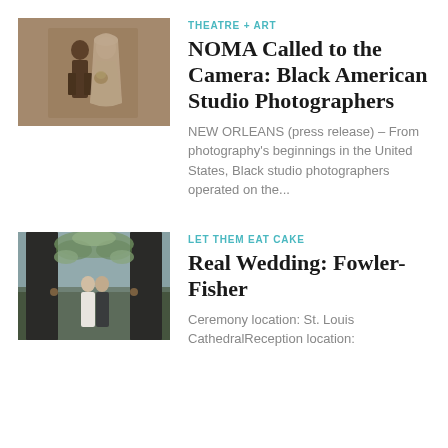[Figure (photo): Sepia-toned vintage photograph of a bride and groom in formal attire]
THEATRE + ART
NOMA Called to the Camera: Black American Studio Photographers
NEW ORLEANS (press release) – From photography's beginnings in the United States, Black studio photographers operated on the...
[Figure (photo): Outdoor wedding ceremony photo with couple standing in doorway surrounded by floral arch]
LET THEM EAT CAKE
Real Wedding: Fowler-Fisher
Ceremony location: St. Louis CathedralReception location: